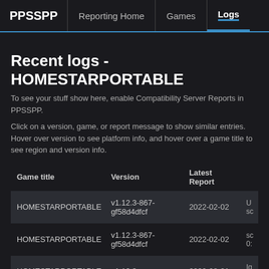PPSSPP | Reporting Home | Games | Logs
Recent logs - HOMESTARPORTABLE
To see your stuff show here, enable Compatibility Server Reports in PPSSPP.
Click on a version, game, or report message to show similar entries. Hover over version to see platform info, and hover over a game title to see region and version info.
| Game title | Version | Latest Report |  |
| --- | --- | --- | --- |
| HOMESTARPORTABLE | v1.12.3-867-gf58d4dfcf | 2022-02-02 | U sc |
| HOMESTARPORTABLE | v1.12.3-867-gf58d4dfcf | 2022-02-02 | sc 0: |
| HOMESTARPORTABLE | v1.10.3 | 2020-08-21 | Ig al |
| HOMESTARPORTABLE | v1.10.3 | 2020-08-19 | Ig |